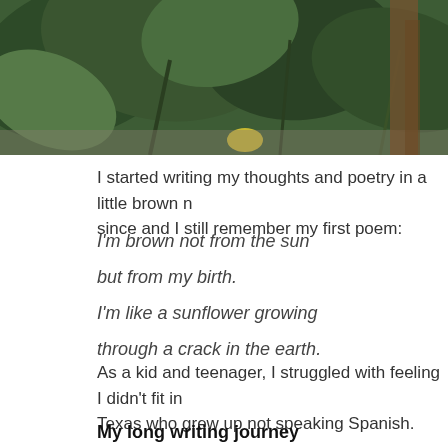[Figure (photo): Photo of large green tropical leaves and plants in a garden setting]
I started writing my thoughts and poetry in a little brown no since and I still remember my first poem:
I'm brown not from the sun

but from my birth.

I'm like a sunflower growing

through a crack in the earth.
As a kid and teenager, I struggled with feeling I didn't fit in Texas who grew up not speaking Spanish.
My long writing journey